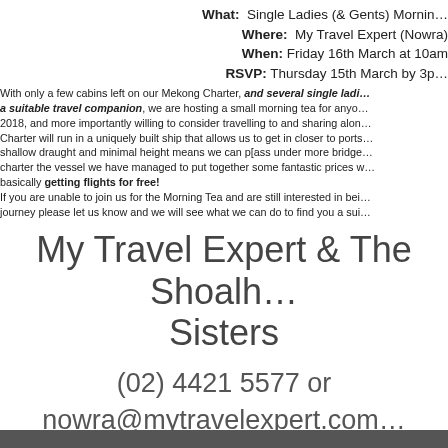What: Single Ladies (& Gents) Morning Tea
Where: My Travel Expert (Nowra)
When: Friday 16th March at 10am
RSVP: Thursday 15th March by 3pm
With only a few cabins left on our Mekong Charter, and several single ladies looking for a suitable travel companion, we are hosting a small morning tea for anyone considering travelling in 2018, and more importantly willing to consider travelling to and sharing alone supplement. The Charter will run in a uniquely built ship that allows us to get in closer to ports of call, and the shallow draught and minimal height means we can p[ass under more bridges and see more. As we charter the vessel we have managed to put together some fantastic prices which means you are basically getting flights for free!
If you are unable to join us for the Morning Tea and are still interested in being part of this journey please let us know and we will see what we can do to find you a suitable companion.
My Travel Expert & The Shoalhaven Sisters
(02) 4421 5577 or
nowra@mytravelexpert.com